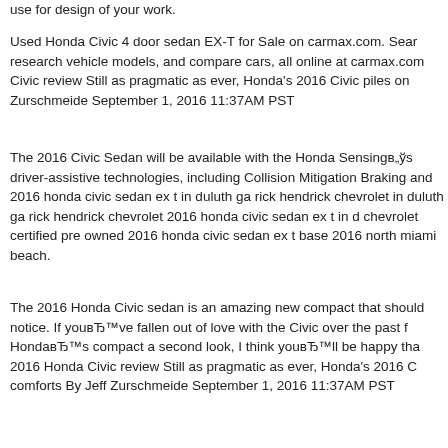use for design of your work.
Used Honda Civic 4 door sedan EX-T for Sale on carmax.com. Sear research vehicle models, and compare cars, all online at carmax.com Civic review Still as pragmatic as ever, Honda's 2016 Civic piles on Zurschmeide September 1, 2016 11:37AM PST
The 2016 Civic Sedan will be available with the Honda Sensingв„ўs driver-assistive technologies, including Collision Mitigation Braking and 2016 honda civic sedan ex t in duluth ga rick hendrick chevrolet in duluth ga rick hendrick chevrolet 2016 honda civic sedan ex t in d chevrolet certified pre owned 2016 honda civic sedan ex t base 2016 north miami beach.
The 2016 Honda Civic sedan is an amazing new compact that should notice. If youвЂ™ve fallen out of love with the Civic over the past f HondaвЂ™s compact a second look, I think youвЂ™ll be happy tha 2016 Honda Civic review Still as pragmatic as ever, Honda's 2016 C comforts By Jeff Zurschmeide September 1, 2016 11:37AM PST